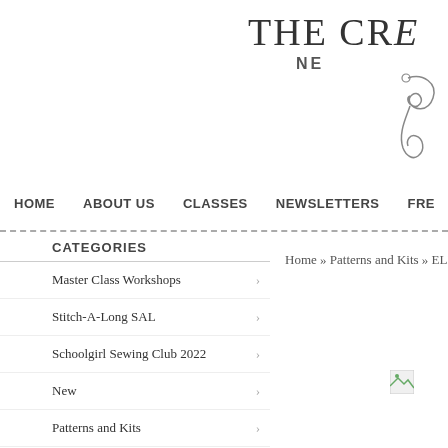THE CRE
NE
HOME   ABOUT US   CLASSES   NEWSLETTERS   FRE
CATEGORIES
Home » Patterns and Kits » ELIZAB
Master Class Workshops
Stitch-A-Long SAL
Schoolgirl Sewing Club 2022
New
Patterns and Kits
Threads, Fabrics and Laces
Notions and Accessories